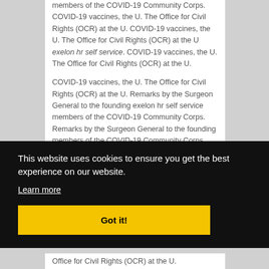members of the COVID-19 Community Corps. COVID-19 vaccines, the U. The Office for Civil Rights (OCR) at the U. COVID-19 vaccines, the U. The Office for Civil Rights (OCR) at the U exelon hr self service. COVID-19 vaccines, the U. The Office for Civil Rights (OCR) at the U.
COVID-19 vaccines, the U. The Office for Civil Rights (OCR) at the U. Remarks by the Surgeon General to the founding exelon hr self service members of the COVID-19 Community Corps. Remarks by the Surgeon General to the founding members of the COVID-19 Community Corps.
This website uses cookies to ensure you get the best experience on our website.
Learn more
Got it!
Office for Civil Rights (OCR) at the U.